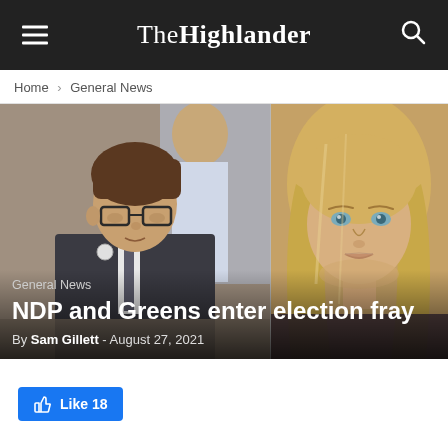The Highlander
Home › General News
[Figure (photo): Two-panel hero image: left panel shows a young man with glasses in a dark suit at a table; right panel shows a woman with long blonde hair looking at the camera. Overlay text: General News category label, headline 'NDP and Greens enter election fray', byline 'By Sam Gillett - August 27, 2021'.]
Like 18